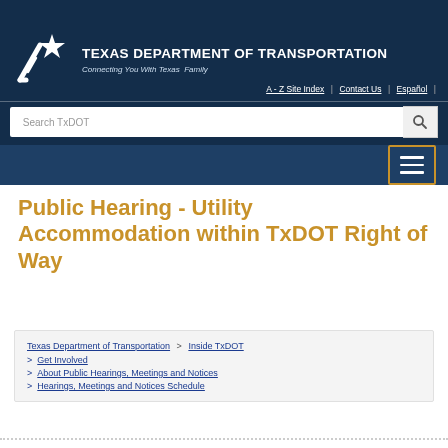[Figure (logo): Texas Department of Transportation logo with star and road icon, white on dark blue background, with tagline 'Connecting You With Texas Family']
A - Z Site Index | Contact Us | Español |
[Figure (screenshot): Search TxDOT search bar with magnifying glass button]
[Figure (screenshot): Dark blue navigation bar with hamburger menu button (three horizontal lines) outlined in orange/gold]
Public Hearing - Utility Accommodation within TxDOT Right of Way
Texas Department of Transportation > Inside TxDOT > Get Involved > About Public Hearings, Meetings and Notices > Hearings, Meetings and Notices Schedule